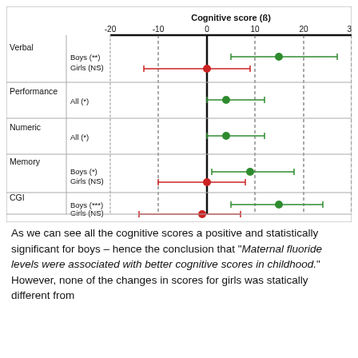[Figure (other): Forest plot showing cognitive score (β) for Boys and Girls across Verbal, Performance, Numeric, Memory, and CGI domains. Green dots (Boys) show positive scores; Red dots (Girls/NS) show near-zero scores. X-axis range -20 to 30.]
As we can see all the cognitive scores a positive and statistically significant for boys – hence the conclusion that "Maternal fluoride levels were associated with better cognitive scores in childhood." However, none of the changes in scores for girls was statically different from